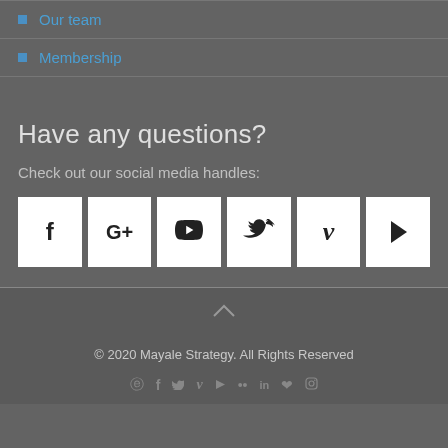Our team
Membership
Have any questions?
Check out our social media handles:
[Figure (infographic): Five white square social media icon buttons: Facebook (f), Google+ (G+), Twitter (bird), Vimeo (v), YouTube (play arrow)]
© 2020 Mayale Strategy. All Rights Reserved
Social media icons row: Skype, Facebook, Twitter, Vimeo, YouTube, Flickr, LinkedIn, Pinterest, Instagram